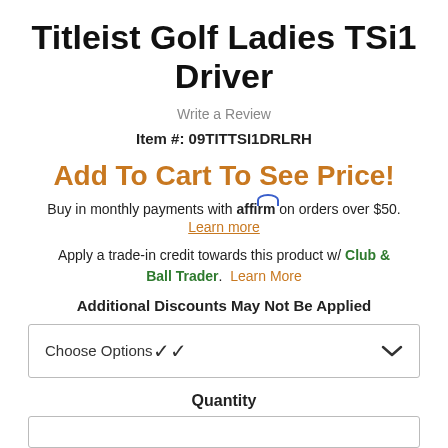Titleist Golf Ladies TSi1 Driver
Write a Review
Item #: 09TITTSI1DRLRH
Add To Cart To See Price!
Buy in monthly payments with affirm on orders over $50.
Learn more
Apply a trade-in credit towards this product w/ Club & Ball Trader. Learn More
Additional Discounts May Not Be Applied
Choose Options
Quantity